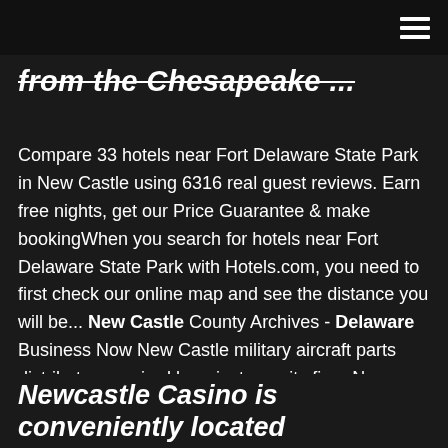hamburger menu icon
from the Chesapeake ...
Compare 33 hotels near Fort Delaware State Park in New Castle using 6316 real guest reviews. Earn free nights, get our Price Guarantee & make bookingWhen you search for hotels near Fort Delaware State Park with Hotels.com, you need to first check our online map and see the distance you will be... New Castle County Archives - Delaware Business Now New Castle military aircraft parts distributor acquired by private equity firm. New Castle County Delaware Business Now - May 14, 2019.Seven projects statewide will receive $3.2 million from Delaware's Strong Neighborhoods Housing Fund to address vacant, abandoned or foreclosed... New Castle (Delaware) - Wikitravel
Newcastle Casino is conveniently located